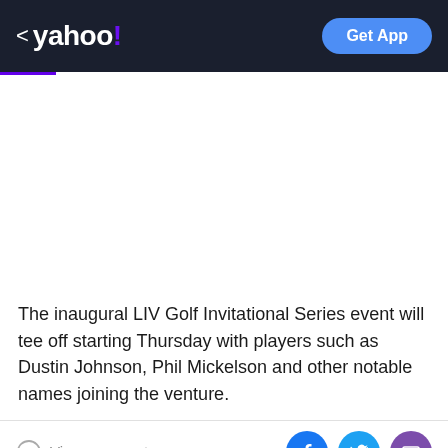< yahoo! | Get App
[Figure (other): White blank content area / image placeholder]
The inaugural LIV Golf Invitational Series event will tee off starting Thursday with players such as Dustin Johnson, Phil Mickelson and other notable names joining the venture.
View comments | Facebook share | Twitter share | Email share